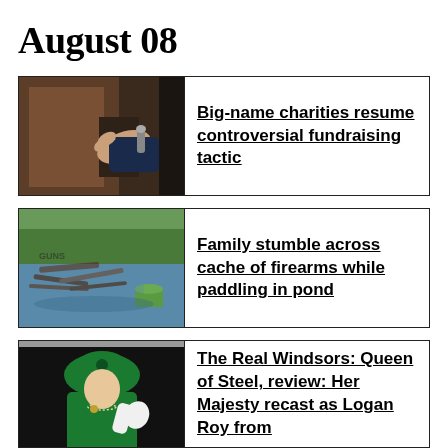August 08
[Figure (photo): Person's hand on a door handle]
Big-name charities resume controversial fundraising tactic
[Figure (photo): Firearms partially submerged in a pond with green bucket nearby, reflection visible]
Family stumble across cache of firearms while paddling in pond
[Figure (photo): Queen Elizabeth II in green hat and coat, waving with a white glove]
The Real Windsors: Queen of Steel, review: Her Majesty recast as Logan Roy from